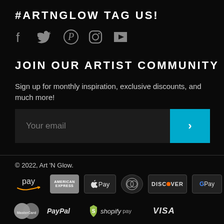#ARTNGLOW TAG US!
[Figure (illustration): Social media icons: Facebook, Twitter, Pinterest, Instagram, YouTube in gray]
JOIN OUR ARTIST COMMUNITY
Sign up for monthly inspiration, exclusive discounts, and much more!
[Figure (other): Email input field with 'Your email' placeholder and cyan submit button with chevron arrow]
© 2022, Art 'N Glow.
[Figure (other): Payment method logos: Amazon Pay, American Express, Apple Pay, Diners Club, Discover, Google Pay, MasterCard, PayPal, Shopify Pay, Visa]